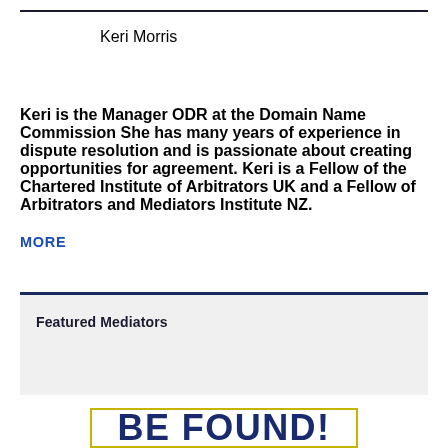Keri Morris
Keri is the Manager ODR at the Domain Name Commission She has many years of experience in dispute resolution and is passionate about creating opportunities for agreement. Keri is a Fellow of the Chartered Institute of Arbitrators UK and a Fellow of Arbitrators and Mediators Institute NZ. MORE
Featured Mediators
BE FOUND!